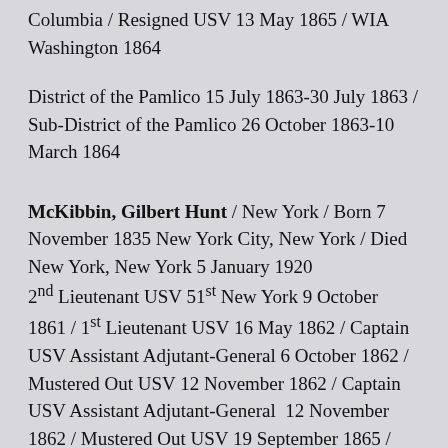Columbia / Resigned USV 13 May 1865 / WIA Washington 1864
District of the Pamlico 15 July 1863-30 July 1863 / Sub-District of the Pamlico 26 October 1863-10 March 1864
McKibbin, Gilbert Hunt / New York / Born 7 November 1835 New York City, New York / Died New York, New York 5 January 1920 2nd Lieutenant USV 51st New York 9 October 1861 / 1st Lieutenant USV 16 May 1862 / Captain USV Assistant Adjutant-General 6 October 1862 / Mustered Out USV 12 November 1862 / Captain USV Assistant Adjutant-General 12 November 1862 / Mustered Out USV 19 September 1865 / Brevet Major USA 2 December 1864